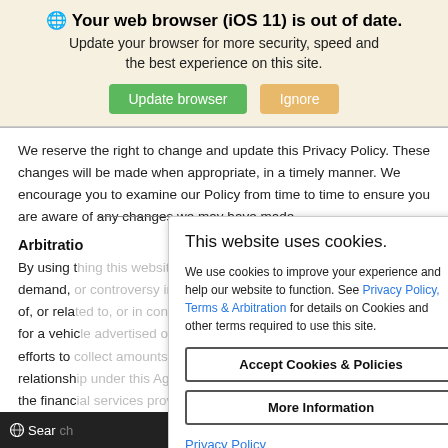[Figure (screenshot): Browser update notification banner with globe icon, bold title 'Your web browser (iOS 11) is out of date.', subtitle text, and two buttons: green 'Update browser' and orange 'Ignore']
We reserve the right to change and update this Privacy Policy. These changes will be made when appropriate, in a timely manner. We encourage you to examine our Policy from time to time to ensure you are aware of any changes we may have made.
Arbitratio
By using t... suit, demand, c... rising out of, or rela... ransaction for a vehic... any efforts to... s' relationsh... of whether the financ... t limited
[Figure (screenshot): Cookie consent modal dialog with close X button, title 'This website uses cookies.', body text with Privacy Policy and Terms & Arbitration links, Accept Cookies & Policies button, More Information button, and Privacy Policy link at bottom]
Search   Contact